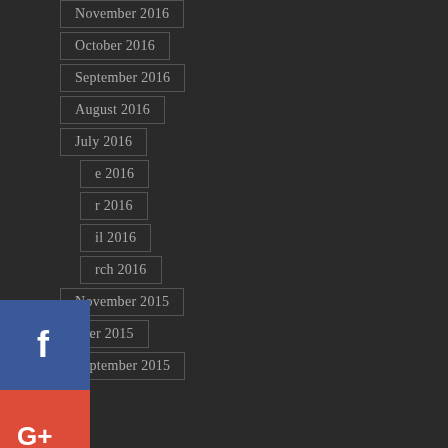November 2016
October 2016
September 2016
August 2016
July 2016
June 2016
May 2016
April 2016
March 2016
November 2015
October 2015
September 2015
[Figure (infographic): Social media share buttons: Facebook (blue), Google+ (red), Twitter (light blue), Pinterest (red), Blogger (orange), More (gray ellipsis)]